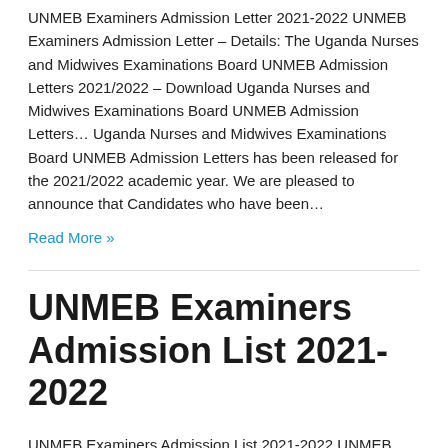UNMEB Examiners Admission Letter 2021-2022 UNMEB Examiners Admission Letter – Details: The Uganda Nurses and Midwives Examinations Board UNMEB Admission Letters 2021/2022 – Download Uganda Nurses and Midwives Examinations Board UNMEB Admission Letters… Uganda Nurses and Midwives Examinations Board UNMEB Admission Letters has been released for the 2021/2022 academic year. We are pleased to announce that Candidates who have been…
Read More »
UNMEB Examiners Admission List 2021-2022
UNMEB Examiners Admission List 2021-2022 UNMEB Examiners Admission List – Check Details Below: The management of the Uganda Nurses and Midwives Examinations